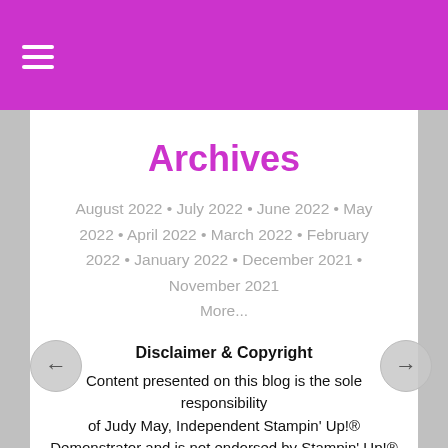≡ (hamburger menu)
Archives
August 2022 • July 2022 • June 2022 • May 2022 • April 2022 • March 2022 • February 2022 • January 2022 • December 2021 • November 2021
More...
Disclaimer & Copyright
Content presented on this blog is the sole responsibility of Judy May, Independent Stampin' Up!® Demonstrator and is not endorsed by Stampin' Up!®
Stamped images presented are © Stampin' Up! 1990-